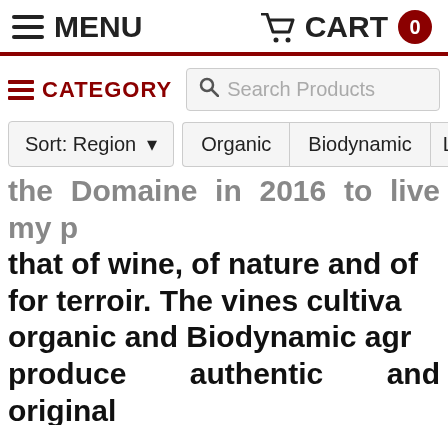MENU | CART 0
CATEGORY | Search Products
Sort: Region ▼ | Organic | Biodynamic | L
the Domaine in 2016 to live my p... that of wine, of nature and of for terroir. The vines cultiva... organic and Biodynamic agr... produce authentic and original... After tasting the 2018s and 201... Pablo last winter, we couldn'... more as the wines are deep,